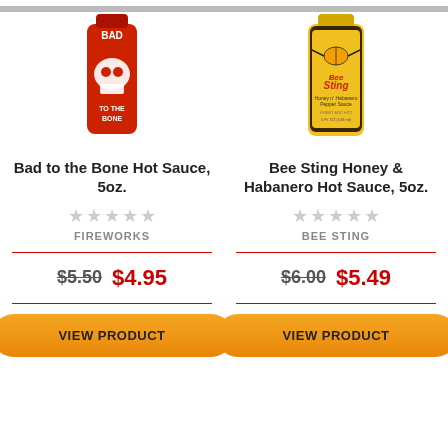[Figure (photo): Red bottle of Bad to the Bone Hot Sauce with skull graphic]
[Figure (photo): Yellow bottle of Bee Sting Honey & Habanero Pepper Sauce]
Bad to the Bone Hot Sauce, 5oz.
Bee Sting Honey & Habanero Hot Sauce, 5oz.
FIREWORKS
BEE STING
$5.50 $4.95
$6.00 $5.49
VIEW PRODUCT
VIEW PRODUCT